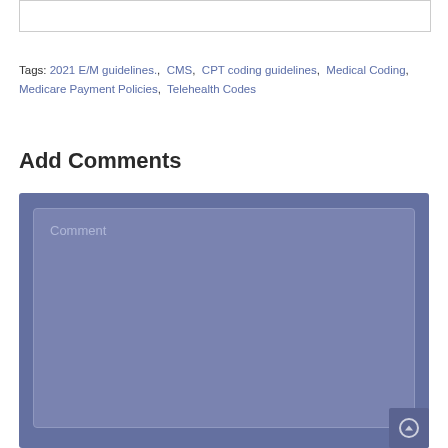[Figure (other): Top partial image/content box with border]
Tags: 2021 E/M guidelines., CMS, CPT coding guidelines, Medical Coding, Medicare Payment Policies, Telehealth Codes
Add Comments
[Figure (screenshot): Comment form area with blue/purple background and a text area with placeholder text 'Comment']